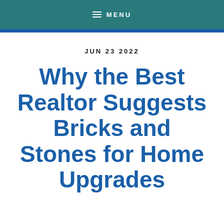MENU
JUN 23 2022
Why the Best Realtor Suggests Bricks and Stones for Home Upgrades